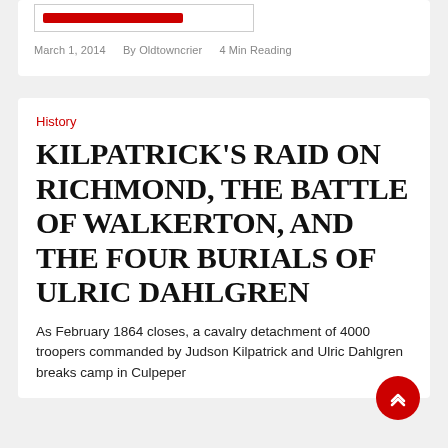March 1, 2014   By Oldtowncrier   4 Min Reading
History
KILPATRICK'S RAID ON RICHMOND, THE BATTLE OF WALKERTON, AND THE FOUR BURIALS OF ULRIC DAHLGREN
As February 1864 closes, a cavalry detachment of 4000 troopers commanded by Judson Kilpatrick and Ulric Dahlgren breaks camp in Culpeper